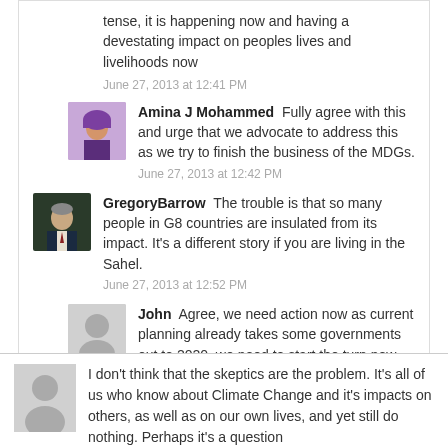tense, it is happening now and having a devestating impact on peoples lives and livelihoods now
June 27, 2013 at 12:41 PM
Amina J Mohammed   Fully agree with this and urge that we advocate to address this as we try to finish the business of the MDGs.
June 27, 2013 at 12:42 PM
GregoryBarrow   The trouble is that so many people in G8 countries are insulated from its impact. It's a different story if you are living in the Sahel.
June 27, 2013 at 12:52 PM
John   Agree, we need action now as current planning already takes some governments out to 2020, we need to start the turn now and not after 2020 ...
June 27, 2013 at 12:52 PM
I don't think that the skeptics are the problem. It's all of us who know about Climate Change and it's impacts on others, as well as on our own lives, and yet still do nothing. Perhaps it's a question